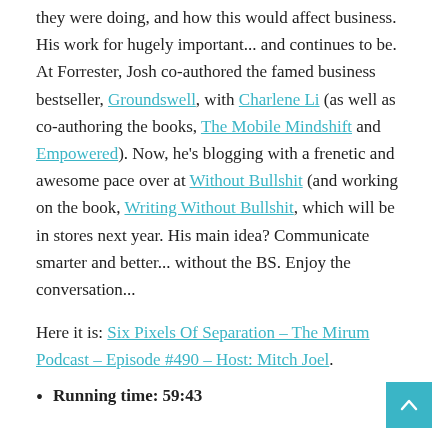they were doing, and how this would affect business. His work for hugely important... and continues to be. At Forrester, Josh co-authored the famed business bestseller, Groundswell, with Charlene Li (as well as co-authoring the books, The Mobile Mindshift and Empowered). Now, he's blogging with a frenetic and awesome pace over at Without Bullshit (and working on the book, Writing Without Bullshit, which will be in stores next year. His main idea? Communicate smarter and better... without the BS. Enjoy the conversation...
Here it is: Six Pixels Of Separation – The Mirum Podcast – Episode #490 – Host: Mitch Joel.
Running time: 59:43